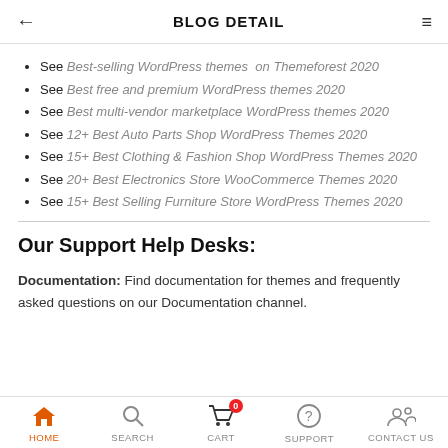BLOG DETAIL
See Best-selling WordPress themes on Themeforest 2020
See Best free and premium WordPress themes 2020
See Best multi-vendor marketplace WordPress themes 2020
See 12+ Best Auto Parts Shop WordPress Themes 2020
See 15+ Best Clothing & Fashion Shop WordPress Themes 2020
See 20+ Best Electronics Store WooCommerce Themes 2020
See 15+ Best Selling Furniture Store WordPress Themes 2020
Our Support Help Desks:
Documentation: Find documentation for themes and frequently asked questions on our Documentation channel.
HOME   SEARCH   CART   SUPPORT   CONTACT US